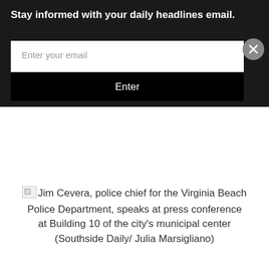Stay informed with your daily headlines email.
Enter your email
Enter
Jim Cevera, police chief for the Virginia Beach Police Department, speaks at press conference at Building 10 of the city's municipal center (Southside Daily/ Julia Marsigliano)